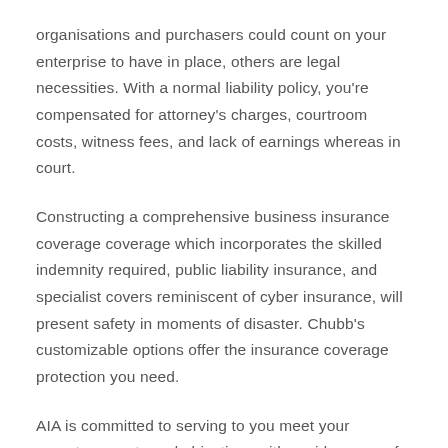organisations and purchasers could count on your enterprise to have in place, others are legal necessities. With a normal liability policy, you're compensated for attorney's charges, courtroom costs, witness fees, and lack of earnings whereas in court.
Constructing a comprehensive business insurance coverage coverage which incorporates the skilled indemnity required, public liability insurance, and specialist covers reminiscent of cyber insurance, will present safety in moments of disaster. Chubb's customizable options offer the insurance coverage protection you need.
AIA is committed to serving to you meet your monetary wants and objectives with a wide range of life and well being safety and long-time period financial savings ...